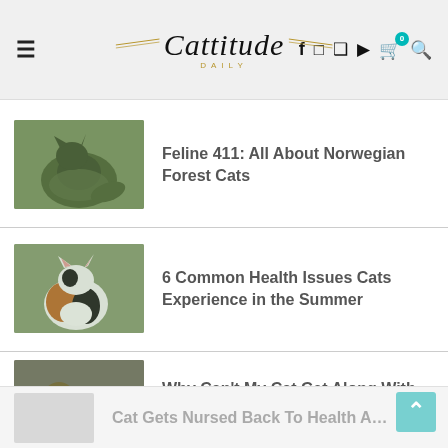Cattitude Daily
Feline 411: All About Norwegian Forest Cats
6 Common Health Issues Cats Experience in the Summer
Why Can't My Cat Get Along With Other Cats?
Cat Gets Nursed Back To Health A…